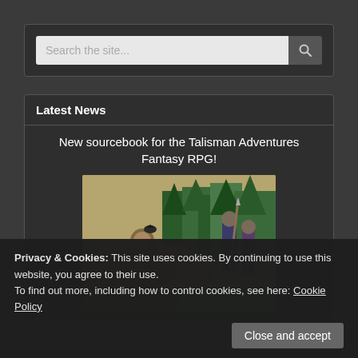[Figure (screenshot): Search bar UI element with text input showing 'Search the site...' placeholder and a search button with magnifier icon on dark background]
Latest News
New sourcebook for the Talisman Adventures Fantasy RPG!
[Figure (photo): Fantasy RPG scene showing characters in a outdoor landscape with trees and rocky terrain]
Privacy & Cookies: This site uses cookies. By continuing to use this website, you agree to their use.
To find out more, including how to control cookies, see here: Cookie Policy
Close and accept